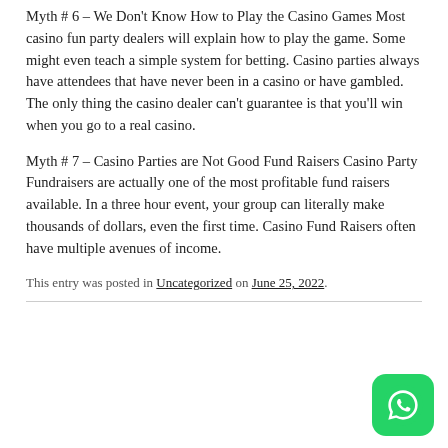Myth # 6 – We Don't Know How to Play the Casino Games Most casino fun party dealers will explain how to play the game. Some might even teach a simple system for betting. Casino parties always have attendees that have never been in a casino or have gambled. The only thing the casino dealer can't guarantee is that you'll win when you go to a real casino.
Myth # 7 – Casino Parties are Not Good Fund Raisers Casino Party Fundraisers are actually one of the most profitable fund raisers available. In a three hour event, your group can literally make thousands of dollars, even the first time. Casino Fund Raisers often have multiple avenues of income.
This entry was posted in Uncategorized on June 25, 2022.
[Figure (logo): WhatsApp logo button — green rounded square with white phone/speech-bubble icon]